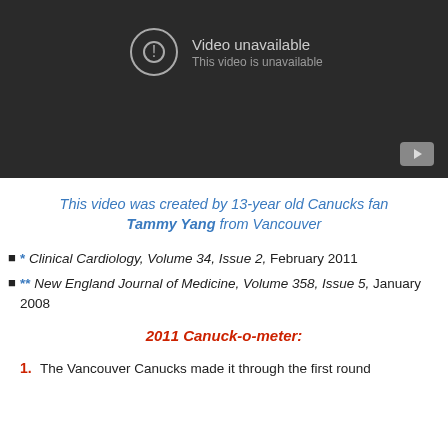[Figure (screenshot): YouTube video player showing 'Video unavailable / This video is unavailable' message on a dark background with a YouTube play button icon in the bottom right.]
This video was created by 13-year old Canucks fan Tammy Yang from Vancouver
* Clinical Cardiology, Volume 34, Issue 2, February 2011
** New England Journal of Medicine, Volume 358, Issue 5, January 2008
2011 Canuck-o-meter:
1. The Vancouver Canucks made it through the first round